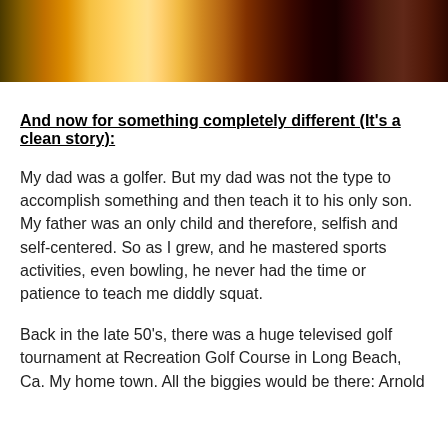[Figure (photo): Partial photo strip at top of page showing warm orange, yellow, and red tones — appears to be an outdoor or nature scene.]
And now for something completely different (It's a clean story):
My dad was a golfer. But my dad was not the type to accomplish something and then teach it to his only son. My father was an only child and therefore, selfish and self-centered. So as I grew, and he mastered sports activities, even bowling, he never had the time or patience to teach me diddly squat.
Back in the late 50's, there was a huge televised golf tournament at Recreation Golf Course in Long Beach, Ca. My home town. All the biggies would be there: Arnold